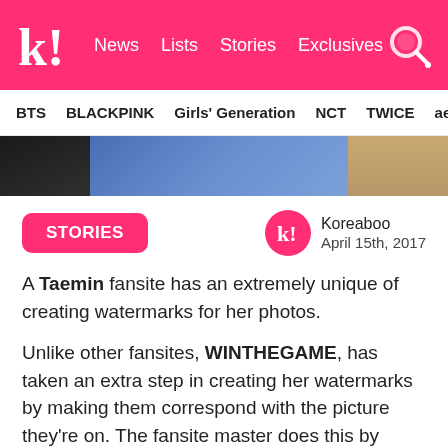k! News Lists Stories Exclusives [search]
BTS  BLACKPINK  Girls' Generation  NCT  TWICE  aespa
[Figure (photo): Partial photo showing blue fabric/clothing and tan skin tones in background]
STORIES
Koreaboo
April 15th, 2017
A Taemin fansite has an extremely unique of creating watermarks for her photos.
Unlike other fansites, WINTHEGAME, has taken an extra step in creating her watermarks by making them correspond with the picture they're on. The fansite master does this by mimicking Taemin's facial expressions in her logos, as well as the color scheme of his attire, resulting in